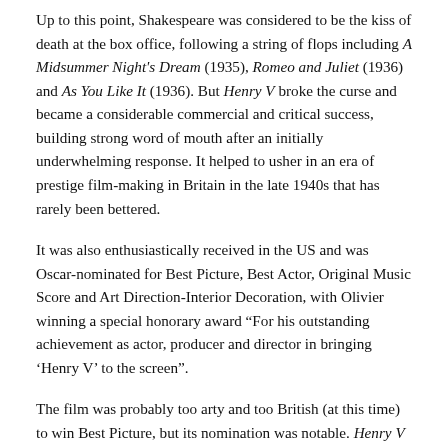Up to this point, Shakespeare was considered to be the kiss of death at the box office, following a string of flops including A Midsummer Night's Dream (1935), Romeo and Juliet (1936) and As You Like It (1936). But Henry V broke the curse and became a considerable commercial and critical success, building strong word of mouth after an initially underwhelming response. It helped to usher in an era of prestige film-making in Britain in the late 1940s that has rarely been bettered.
It was also enthusiastically received in the US and was Oscar-nominated for Best Picture, Best Actor, Original Music Score and Art Direction-Interior Decoration, with Olivier winning a special honorary award "For his outstanding achievement as actor, producer and director in bringing 'Henry V' to the screen".
The film was probably too arty and too British (at this time) to win Best Picture, but its nomination was notable. Henry V also wasn't released in the US until 1946, by which time most of its contemporary relevance had been lost. But Olivier would return a couple of years later with his 1948 film of Hamlet, winning four Academy Awards, including